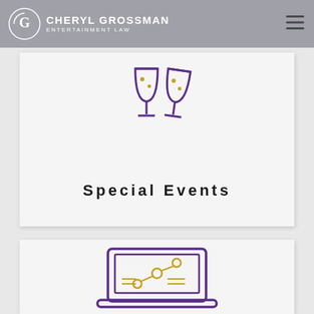CHERYL GROSSMAN ENTERTAINMENT LAW
[Figure (illustration): Two champagne glasses clinking, drawn in purple and gold line art style]
Special Events
[Figure (illustration): Laptop computer with a share/network icon on screen, drawn in purple and gold line art style]